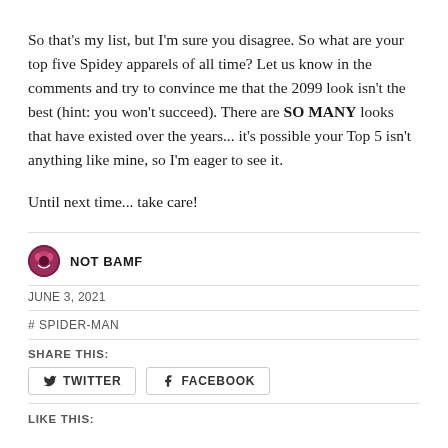So that's my list, but I'm sure you disagree. So what are your top five Spidey apparels of all time? Let us know in the comments and try to convince me that the 2099 look isn't the best (hint: you won't succeed). There are SO MANY looks that have existed over the years... it's possible your Top 5 isn't anything like mine, so I'm eager to see it.
Until next time... take care!
NOT BAMF
JUNE 3, 2021
# SPIDER-MAN
SHARE THIS:
TWITTER    FACEBOOK
LIKE THIS: